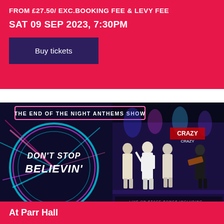FROM £27.50/ EXC.BOOKING FEE & LEVY FEE
SAT 09 SEP 2023, 7:30PM
Buy tickets
[Figure (photo): Event promotional image for 'Don't Stop Believin' - The End of the Night Anthems Show at Parr Hall. Shows neon glowing circular graphic with 'DON'T STOP BELIEVIN'' text on left side, and performers on stage on the right. Songs listed include Eye of the Tiger, Livin' on a Prayer, Crazy Crazy Nights, The Heat is On, Heaven is a Place on Earth, China in Your Hand.]
At Parr Hall